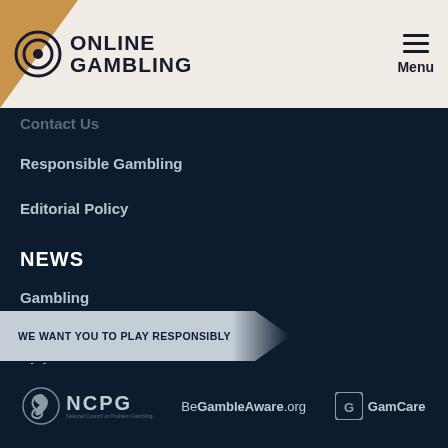Online Gambling | Menu
Contact Us
Responsible Gambling
Editorial Policy
NEWS
Gambling
Poker
Picks
WE WANT YOU TO PLAY RESPONSIBLY
NCPG | BeGambleAware.org | GamCare